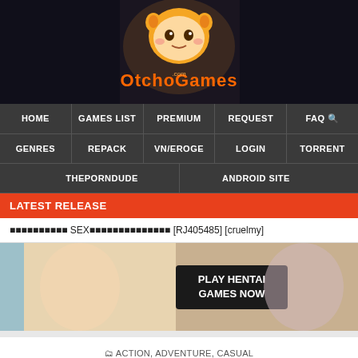[Figure (logo): OtchoGames website logo with anime character on dark banner background]
HOME | GAMES LIST | PREMIUM | REQUEST | FAQ | GENRES | REPACK | VN/EROGE | LOGIN | TORRENT | THEPORNDUDE | ANDROID SITE
LATEST RELEASE
■■■■■■■■■■ SEX■■■■■■■■■■■■■■ [RJ405485] [cruelmy]
[Figure (illustration): Hentai game advertisement banner with text PLAY HENTAI GAMES NOW]
ACTION, ADVENTURE, CASUAL
Funk Unplugged Free Download